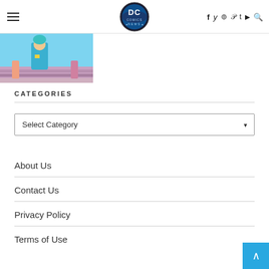DC Comics News — navigation header with hamburger menu, DC Comics News logo, and social icons (Facebook, Twitter, Instagram, Pinterest, Tumblr, YouTube, Search)
[Figure (photo): Partial comic or illustration image strip showing colorful characters — partially visible at top of page]
CATEGORIES
Select Category
About Us
Contact Us
Privacy Policy
Terms of Use